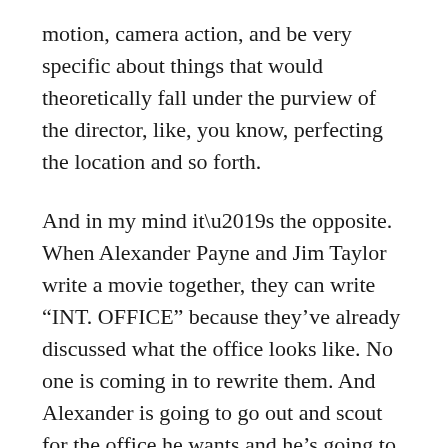motion, camera action, and be very specific about things that would theoretically fall under the purview of the director, like, you know, perfecting the location and so forth.
And in my mind it’s the opposite. When Alexander Payne and Jim Taylor write a movie together, they can write “INT. OFFICE” because they’ve already discussed what the office looks like. No one is coming in to rewrite them. And Alexander is going to go out and scout for the office he wants and he’s going to tell people the office he wants, so he can save some space and time on the page. He’s quite likely not writing the script to do anything other than service him as he makes the movie. Similarly for Jason Reitman.